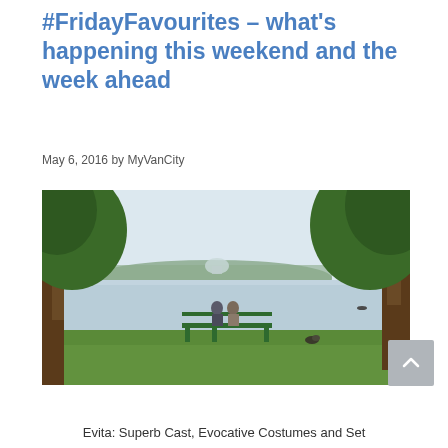#FridayFavourites – what's happening this weekend and the week ahead
May 6, 2016 by MyVanCity
[Figure (photo): Two people sitting on a green park bench overlooking a calm lake, framed by large trees on both sides, with green trees and a dome structure visible across the water on a cloudy day.]
Evita: Superb Cast, Evocative Costumes and Set